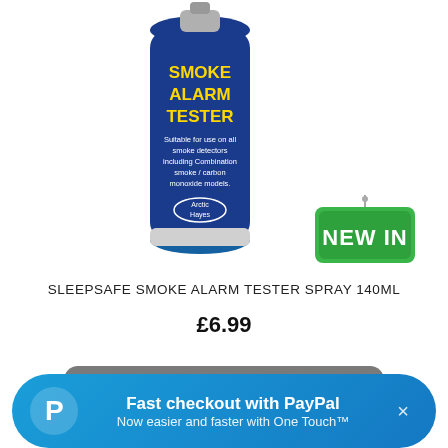[Figure (photo): Blue aerosol spray can labeled 'Smoke Alarm Tester' by Arctic Hayes with text 'Suitable for use on all smoke detectors including Combination smoke / carbon monoxide models.']
[Figure (illustration): Green hanging sign badge with white bold text 'NEW IN']
SLEEPSAFE SMOKE ALARM TESTER SPRAY 140ML
£6.99
[Figure (photo): Close-up of a grey plastic smoke alarm detector from below]
Fast checkout with PayPal
Now easier and faster with One Touch™